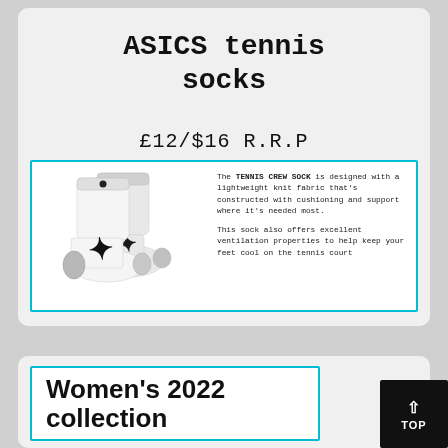ASICS tennis socks
£12/$16 R.R.P
[Figure (photo): ASICS Tennis Crew Sock product image showing white socks with black ASICS logo/star stripe and gray heel, with product description text: 'The TENNIS CREW SOCK is designed with a lightweight knit fabric that's constructed with cushioning and support where it's needed most. This sock also offers excellent ventilation properties to help keep your feet cool on the tennis court']
Women's 2022 collection